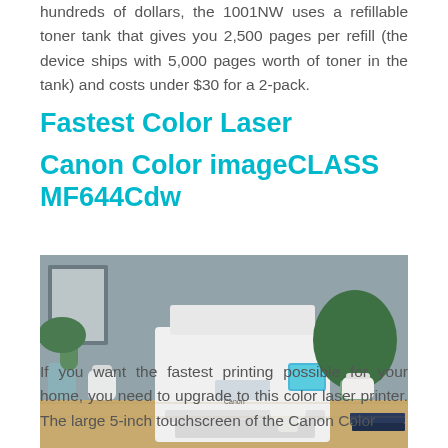hundreds of dollars, the 1001NW uses a refillable toner tank that gives you 2,500 pages per refill (the device ships with 5,000 pages worth of toner in the tank) and costs under $30 for a 2-pack.
Fastest Color Laser
Canon Color imageCLASS MF644Cdw
[Figure (photo): Canon Color imageCLASS MF644Cdw printer on a wooden desk surrounded by plants and white ceramic vases against a gray wall]
If you want the fastest printing possible for your home, you need to upgrade to this color laser printer. The large 5-inch touchscreen of the Canon Color